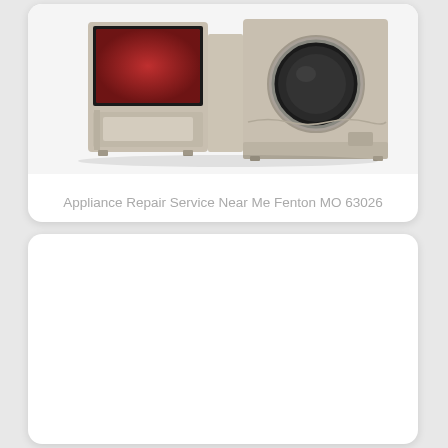[Figure (photo): Photo of household appliances including a washer/dryer combo and microwave in beige/champagne finish, shown against a white background]
Appliance Repair Service Near Me Fenton MO 63026
[Figure (other): White empty card/panel below the main card]